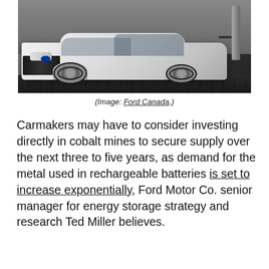[Figure (photo): White Ford Fusion plug-in hybrid electric vehicle plugged into a charging station, photographed from the front-left angle in a garage/driveway setting.]
(Image: Ford Canada.)
Carmakers may have to consider investing directly in cobalt mines to secure supply over the next three to five years, as demand for the metal used in rechargeable batteries is set to increase exponentially, Ford Motor Co. senior manager for energy storage strategy and research Ted Miller believes.